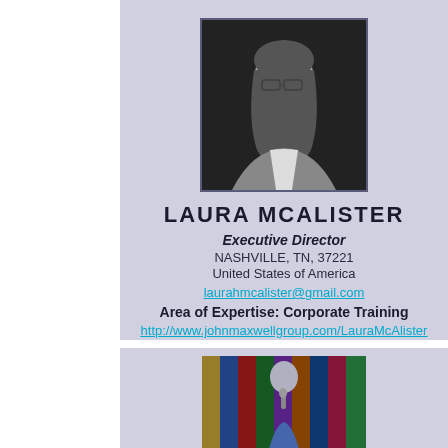[Figure (photo): Black and white professional headshot of Laura McAlister, a woman with long dark hair and glasses, wearing a blazer]
LAURA MCALISTER
Executive Director
NASHVILLE, TN, 37221
United States of America
laurahmcalister@gmail.com
Area of Expertise: Corporate Training
http://www.johnmaxwellgroup.com/LauraMcAlister
[Figure (photo): Color photo of Laura McAlister speaking at a podium in front of multiple international flags]